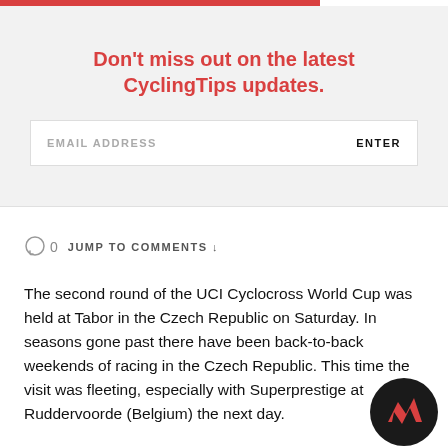Don't miss out on the latest CyclingTips updates.
EMAIL ADDRESS   ENTER
0  JUMP TO COMMENTS ↓
The second round of the UCI Cyclocross World Cup was held at Tabor in the Czech Republic on Saturday. In seasons gone past there have been back-to-back weekends of racing in the Czech Republic. This time the visit was fleeting, especially with Superprestige at Ruddervoorde (Belgium) the next day.
The dry twisty grass course was not the defining feature of the...
[Figure (logo): CyclingTips logo badge — dark circle with red zigzag/lightning bolt mark]